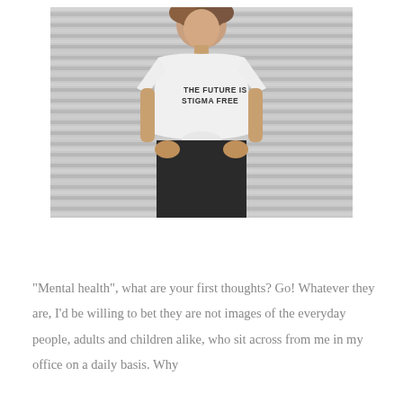[Figure (photo): A woman wearing a white t-shirt with text 'THE FUTURE IS STIGMA FREE' printed on it, standing in front of horizontal grey metal blinds/shutters background. She is wearing black jeans and looking downward.]
"Mental health", what are your first thoughts? Go! Whatever they are, I'd be willing to bet they are not images of the everyday people, adults and children alike, who sit across from me in my office on a daily basis. Why